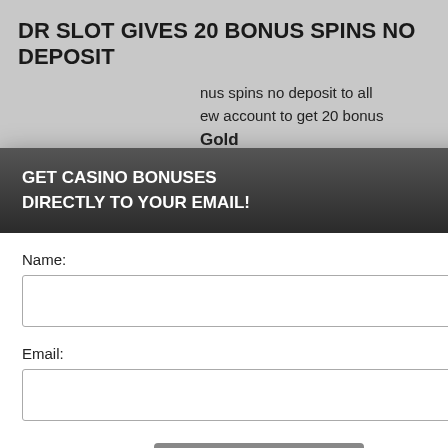DR SLOT GIVES 20 BONUS SPINS NO DEPOSIT
nus spins no deposit to all
ew account to get 20 bonus
Gold
spins no deposit on Fire and
or new players from UK
berience, we use
Using this site,
kie & privacy policy.
at
sets
tch on
00%,
o5: up to
ment.
18+
[Figure (other): Yellow button on black cookie notice bar]
GET CASINO BONUSES
DIRECTLY TO YOUR EMAIL!
Name:
Email:
Submit
By subscribing you are certifying that you have reviewed and accepted our updated Privacy and Cookie policy.